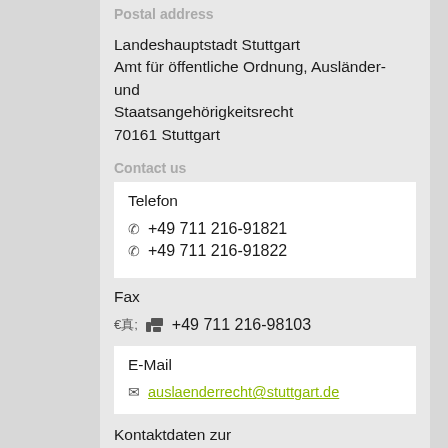Postal address
Landeshauptstadt Stuttgart
Amt für öffentliche Ordnung, Ausländer- und
Staatsangehörigkeitsrecht
70161 Stuttgart
Contact us
Telefon
+49 711 216-91821
+49 711 216-91822
Fax
+49 711 216-98103
E-Mail
auslaenderrecht@stuttgart.de
Kontaktdaten zur Terminvereinbarung
https://www.stuttgart.de/vv/leistungen/auslaenderbe...